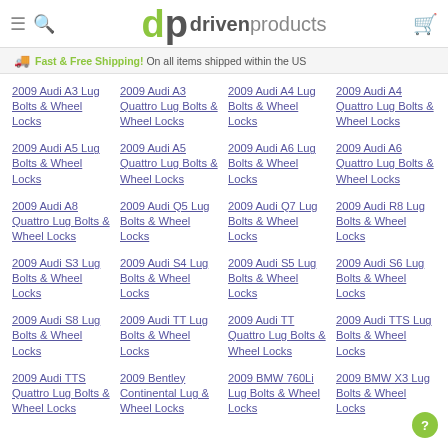dp drivenproducts
Fast & Free Shipping! On all items shipped within the US
2009 Audi A3 Lug Bolts & Wheel Locks
2009 Audi A3 Quattro Lug Bolts & Wheel Locks
2009 Audi A4 Lug Bolts & Wheel Locks
2009 Audi A4 Quattro Lug Bolts & Wheel Locks
2009 Audi A5 Lug Bolts & Wheel Locks
2009 Audi A5 Quattro Lug Bolts & Wheel Locks
2009 Audi A6 Lug Bolts & Wheel Locks
2009 Audi A6 Quattro Lug Bolts & Wheel Locks
2009 Audi A8 Quattro Lug Bolts & Wheel Locks
2009 Audi Q5 Lug Bolts & Wheel Locks
2009 Audi Q7 Lug Bolts & Wheel Locks
2009 Audi R8 Lug Bolts & Wheel Locks
2009 Audi S3 Lug Bolts & Wheel Locks
2009 Audi S4 Lug Bolts & Wheel Locks
2009 Audi S5 Lug Bolts & Wheel Locks
2009 Audi S6 Lug Bolts & Wheel Locks
2009 Audi S8 Lug Bolts & Wheel Locks
2009 Audi TT Lug Bolts & Wheel Locks
2009 Audi TT Quattro Lug Bolts & Wheel Locks
2009 Audi TTS Lug Bolts & Wheel Locks
2009 Audi TTS Quattro Lug Bolts & Wheel Locks
2009 Bentley Continental Lug & Wheel Locks
2009 BMW 760Li Lug Bolts & Wheel Locks
2009 BMW X3 Lug Bolts & Wheel Locks